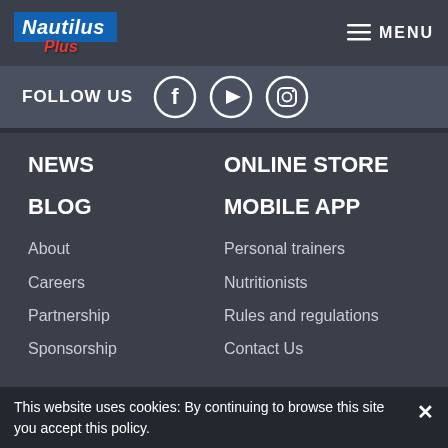Nautilus Plus — MENU
FOLLOW US
[Figure (logo): Social media icons: Facebook, YouTube, Instagram in circles]
NEWS
ONLINE STORE
BLOG
MOBILE APP
About
Personal trainers
Careers
Nutritionists
Partnership
Rules and regulations
Sponsorship
Contact Us
This website uses cookies: By continuing to browse this site you accept this policy.